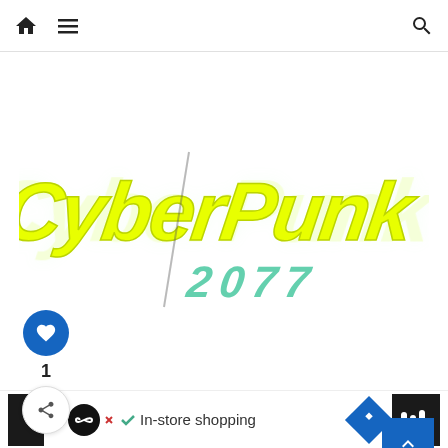[Figure (screenshot): Website navigation bar with home icon, hamburger menu icon on the left, and search icon on the right]
[Figure (logo): Cyberpunk 2077 game logo in yellow-green neon graffiti style lettering on white background]
[Figure (other): Blue circular heart/like button showing count of 1, and a share button below it]
[Figure (other): Blue scroll-to-top button with upward arrow chevron in bottom right]
WHAT'S NEXT → (ME2) Mass Effect 2 : All... 7 – All 22 Tarot Card Graffiti Locations (Fool ... Side Job / Quest) The Wandering Fool Trophy Achievement Guide
[Figure (screenshot): Advertisement bar at bottom with In-store shopping text and navigation icons]